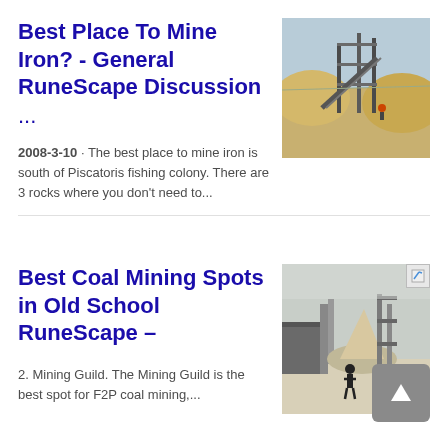Best Place To Mine Iron? - General RuneScape Discussion ...
2008-3-10 · The best place to mine iron is south of Piscatoris fishing colony. There are 3 rocks where you don't need to...
[Figure (photo): Industrial mining site with scaffolding and sandy terrain]
Best Coal Mining Spots in Old School RuneScape –
2. Mining Guild. The Mining Guild is the best spot for F2P coal mining,...
[Figure (photo): Coal mining facility with conveyor equipment and a worker in foreground]